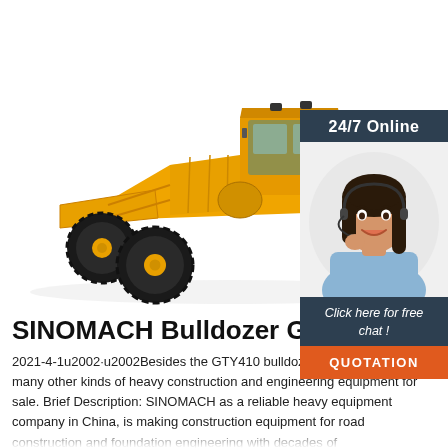[Figure (photo): Yellow SINOMACH motor grader/bulldozer on white background, front-right angle view showing large tires, yellow body, and blade.]
[Figure (infographic): 24/7 Online customer support widget: dark navy header with '24/7 Online', photo of smiling woman with headset, dark navy footer with italic 'Click here for free chat!', and orange 'QUOTATION' button.]
SINOMACH Bulldozer GTY410
2021-4-1u2002·u2002Besides the GTY410 bulldozer, SINOMACH have many other kinds of heavy construction and engineering equipment for sale. Brief Description: SINOMACH as a reliable heavy equipment company in China, is making construction equipment for road construction and foundation engineering with decades of